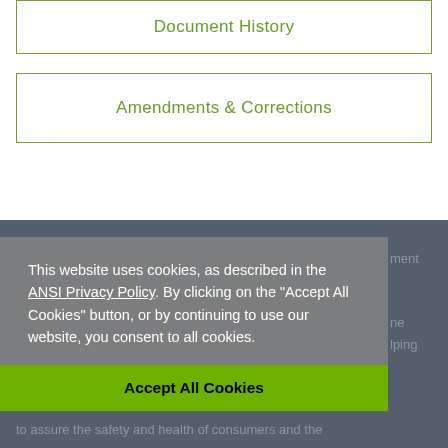Document History
Amendments & Corrections
This website uses cookies, as described in the ANSI Privacy Policy. By clicking on the "Accept All Cookies" button, or by continuing to use our website, you consent to all cookies.
Accept All Cookies